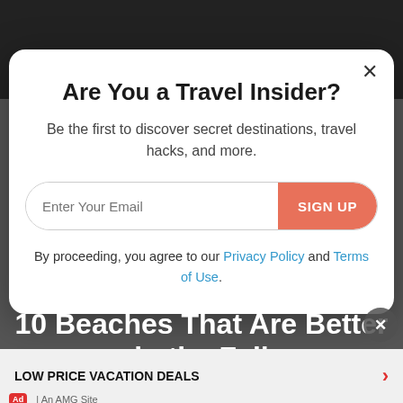Are You a Travel Insider?
Be the first to discover secret destinations, travel hacks, and more.
SIGN UP
By proceeding, you agree to our Privacy Policy and Terms of Use.
10 Beaches That Are Better in the Fall
ADVERTISEMENT
LOW PRICE VACATION DEALS
Ad | An AMG Site